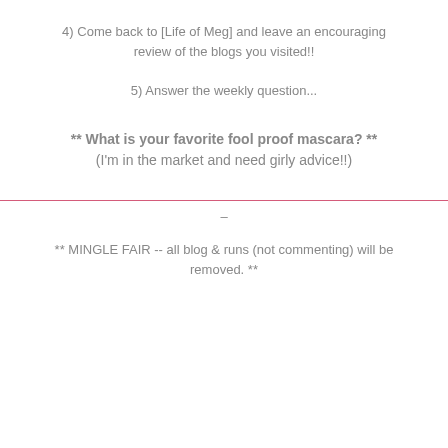4) Come back to [Life of Meg] and leave an encouraging review of the blogs you visited!!
5) Answer the weekly question...
** What is your favorite fool proof mascara? ** (I'm in the market and need girly advice!!)
** MINGLE FAIR -- all blog & runs (not commenting) will be removed. **